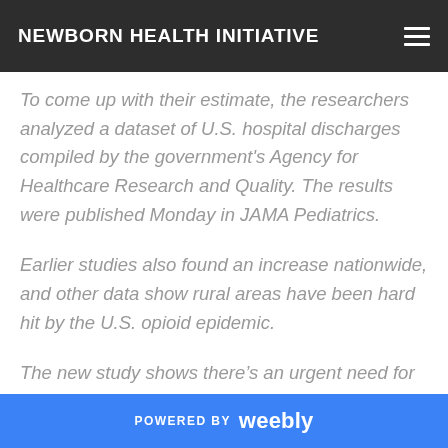NEWBORN HEALTH INITIATIVE
To come up with their estimate, the researchers analyzed a dataset of U.S. hospital discharges compiled by the government's Agency for Healthcare Research and Quality. The results were published Monday in JAMA Pediatrics.
Earlier studies also found an increase nationwide, and other data show rural areas have been hard hit by the U.S. opioid epidemic.
The new study shows there’s an urgent need for more programs to make it easier for women in rural areas to obtain prevention services and
POWERED BY weebly